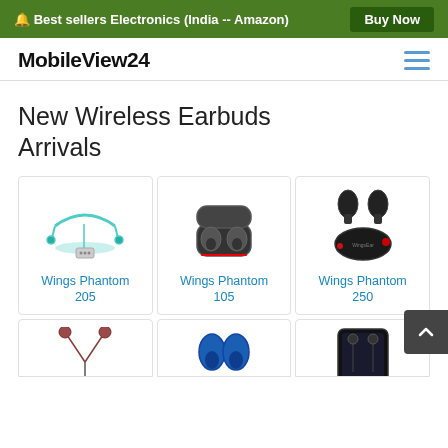🔔 Best sellers Electronics (India -- Amazon) | Buy Now
MobileView24
New Wireless Earbuds Arrivals
[Figure (photo): Wings Phantom 205 neckband earphones in teal/green color]
Wings Phantom 205
[Figure (photo): Wings Phantom 105 true wireless earbuds with dark charging case]
Wings Phantom 105
[Figure (photo): Wings Phantom 250 true wireless earbuds in black with red accent on case]
Wings Phantom 250
[Figure (photo): Wired earphones with round earpieces in maroon/brown color (partially visible)]
[Figure (photo): Blue true wireless earbuds (partially visible)]
[Figure (photo): Dark smartphone screen with earbuds graphic (partially visible)]